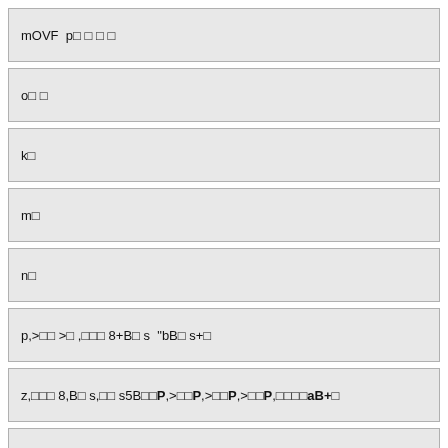mOVF  p□ □ □ □
o□ □
k□
m□
n□
p,>□□ >□ ,□□□ 8+B□ s  "bB□ s+□
z,□□□ 8,B□ s,□□ s5B□□ P,>□□ P,>□□ P,>□□ P,□□□□ aB+□
□□□ u|□□□ {QF□□ b□□